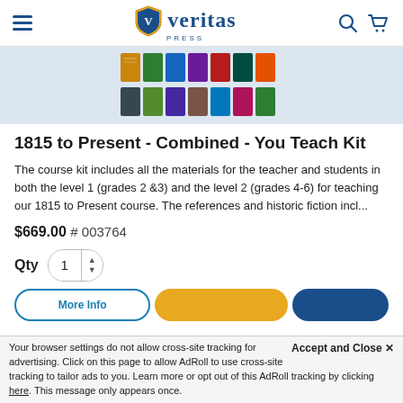Veritas Press
[Figure (photo): Product image showing a collection of book covers for the 1815 to Present course kit, displayed in two rows against a light blue background.]
1815 to Present - Combined - You Teach Kit
The course kit includes all the materials for the teacher and students in both the level 1 (grades 2 &3) and the level 2 (grades 4-6) for teaching our 1815 to Present course. The references and historic fiction incl...
$669.00  # 003764
Qty  1
More Info
Accept and Close ×
Your browser settings do not allow cross-site tracking for advertising. Click on this page to allow AdRoll to use cross-site tracking to tailor ads to you. Learn more or opt out of this AdRoll tracking by clicking here. This message only appears once.